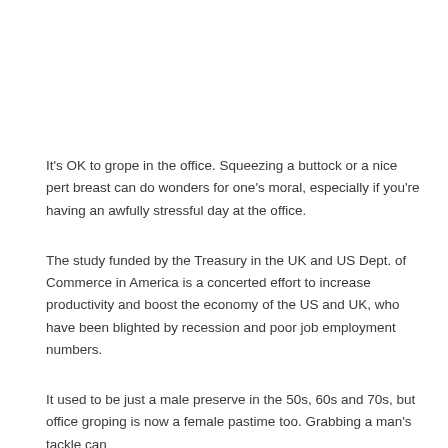It's OK to grope in the office. Squeezing a buttock or a nice pert breast can do wonders for one's moral, especially if you're having an awfully stressful day at the office.
The study funded by the Treasury in the UK and US Dept. of Commerce in America is a concerted effort to increase productivity and boost the economy of the US and UK, who have been blighted by recession and poor job employment numbers.
It used to be just a male preserve in the 50s, 60s and 70s, but office groping is now a female pastime too. Grabbing a man's tackle can